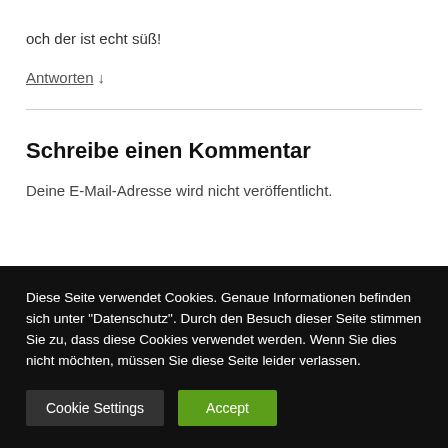och der ist echt süß!
Antworten ↓
Schreibe einen Kommentar
Deine E-Mail-Adresse wird nicht veröffentlicht.
Diese Seite verwendet Cookies. Genaue Informationen befinden sich unter "Datenschutz". Durch den Besuch dieser Seite stimmen Sie zu, dass diese Cookies verwendet werden. Wenn Sie dies nicht möchten, müssen Sie diese Seite leider verlassen.
Cookie Settings | Accept